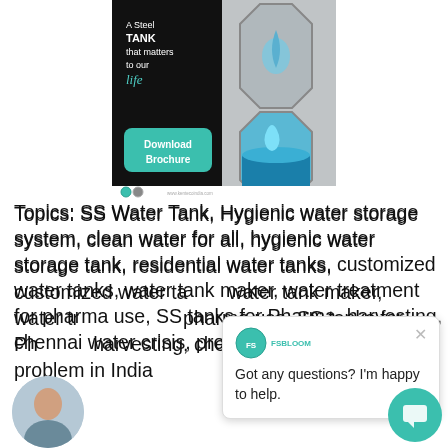[Figure (illustration): Advertisement for a steel water tank product. Dark background on left with text 'A Steel TANK that matters to our life' and a teal 'Download Brochure' button. Right side shows octagon-framed water tank images. Footer has logo icons and website URL.]
Topics: SS Water Tank, Hygienic water storage system, clean water for all, hygienic water storage tank, residential water tanks, customized water tanks, water tank maker, water treatment for pharma use, SS tanks for Ph..., harvesting, chennai water o..., problem in India
Got any questions? I'm happy to help.